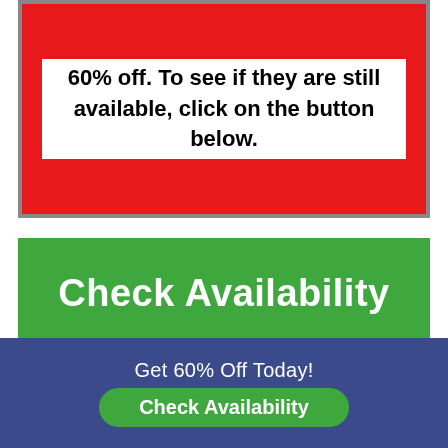60% off. To see if they are still available, click on the button below.
[Figure (other): Large green button with white text reading 'Check Availability']
[Figure (photo): Blurred product image inside blue border box]
Get 60% Off Today!
Check Availability